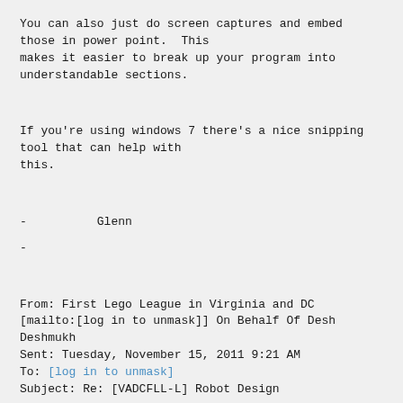You can also just do screen captures and embed those in power point.  This makes it easier to break up your program into understandable sections.
If you're using windows 7 there's a nice snipping tool that can help with this.
-          Glenn
-
From: First Lego League in Virginia and DC [mailto:[log in to unmask]] On Behalf Of Desh Deshmukh
Sent: Tuesday, November 15, 2011 9:21 AM
To: [log in to unmask]
Subject: Re: [VADCFLL-L] Robot Design